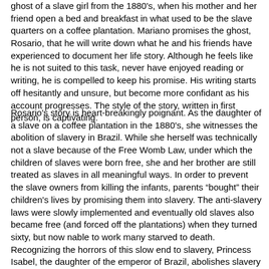ghost of a slave girl from the 1880's, when his mother and her friend open a bed and breakfast in what used to be the slave quarters on a coffee plantation. Mariano promises the ghost, Rosario, that he will write down what he and his friends have experienced to document her life story. Although he feels like he is not suited to this task, never have enjoyed reading or writing, he is compelled to keep his promise. His writing starts off hesitantly and unsure, but become more confidant as his account progresses. The style of the story, written in first person, is captivating.
Rosario's story is heart-breakingly poignant. As the daughter of a slave on a coffee plantation in the 1880's, she witnesses the abolition of slavery in Brazil. While she herself was technically not a slave because of the Free Womb Law, under which the children of slaves were born free, she and her brother are still treated as slaves in all meaningful ways. In order to prevent the slave owners from killing the infants, parents "bought" their children's lives by promising them into slavery. The anti-slavery laws were slowly implemented and eventually old slaves also became free (and forced off the plantations) when they turned sixty, but now nable to work many starved to death. Recognizing the horrors of this slow end to slavery, Princess Isabel, the daughter of the emperor of Brazil, abolishes slavery completely in the Emperor's absence.
The plantation owner in this story was so enraged that slavery had been suddenly abolished, he literally was one of the last to hear of it, that in a fit of rage he burned down the senzala (slave quarters) with all his slaves inside. Rosario's brother, who had snuck away from the plantation, was the only one to escape. Rosario's ghost haunts the senzala after she dies, wanting to know what has happened to her brother. As Mariano and his friends learn the story of Rosario's life and that of her brother, they